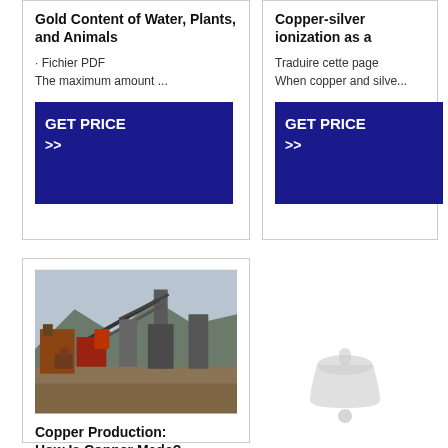Gold Content of Water, Plants, and Animals
· Fichier PDF
The maximum amount ...
[Figure (other): GET PRICE >> button in dark blue]
Copper-silver ionization as a
Traduire cette page
When copper and silve...
[Figure (other): GET PRICE >> button in dark blue]
[Figure (photo): Photo of an industrial copper mining/processing facility with heavy machinery, conveyor belts and mountains in the background.]
Copper Production: How Is Copper Made? -
Traduire cette page
26/09/2019 · Copper p...
[Figure (illustration): Light gray bell/notification icon]